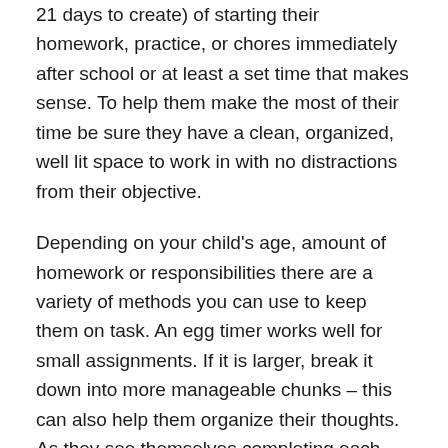21 days to create) of starting their homework, practice, or chores immediately after school or at least a set time that makes sense. To help them make the most of their time be sure they have a clean, organized, well lit space to work in with no distractions from their objective.
Depending on your child's age, amount of homework or responsibilities there are a variety of methods you can use to keep them on task. An egg timer works well for small assignments. If it is larger, break it down into more manageable chunks – this can also help them organize their thoughts. As they see themselves completing each part they will know the progress they are making and it may seem less daunting.
One of our on staff moms finds the Time Tracker to be a fun and helpful tool. "You set the amount of time you think